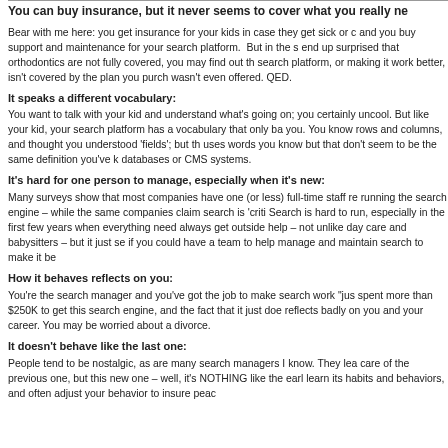You can buy insurance, but it never seems to cover what you really ne
Bear with me here: you get insurance for your kids in case they get sick or c and you buy support and maintenance for your search platform.  But in the s end up surprised that orthodontics are not fully covered, you may find out th search platform, or making it work better, isn't covered by the plan you purch wasn't even offered. QED.
It speaks a different vocabulary:
You want to talk with your kid and understand what's going on; you certainly uncool. But like your kid, your search platform has a vocabulary that only ba you. You know rows and columns, and thought you understood 'fields'; but th uses words you know but that don't seem to be the same definition you've k databases or CMS systems.
It's hard for one person to manage, especially when it's new:
Many surveys show that most companies have one (or less) full-time staff re running the search engine – while the same companies claim search is 'criti Search is hard to run, especially in the first few years when everything need always get outside help – not unlike day care and babysitters – but it just se if you could have a team to help manage and maintain search to make it be
How it behaves reflects on you:
You're the search manager and you've got the job to make search work "jus spent more than $250K to get this search engine, and the fact that it just doe reflects badly on you and your career. You may be worried about a divorce.
It doesn't behave like the last one:
People tend to be nostalgic, as are many search managers I know. They lea care of the previous one, but this new one – well, it's NOTHING like the earl learn its habits and behaviors, and often adjust your behavior to insure peac